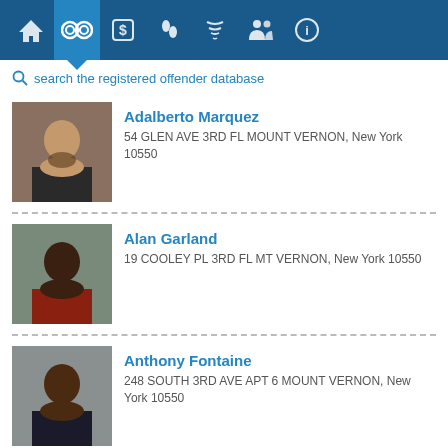[Figure (screenshot): Navigation bar with icons for home, handcuffs (active/selected), dollar sign, footprints, tornado, people, and info circle on dark blue background]
search the registered offender database
[Figure (photo): Mugshot photo of Adalberto Marquez]
Adalberto Marquez
54 GLEN AVE 3RD FL MOUNT VERNON, New York 10550
[Figure (photo): Mugshot photo of Alan Garland]
Alan Garland
19 COOLEY PL 3RD FL MT VERNON, New York 10550
[Figure (photo): Mugshot photo of Anthony Fontaine]
Anthony Fontaine
248 SOUTH 3RD AVE APT 6 MOUNT VERNON, New York 10550
[Figure (photo): Mugshot photo of Antoine May]
Antoine May
227 S 3RD AVE 2ND FL MT VERNON, New York 10550